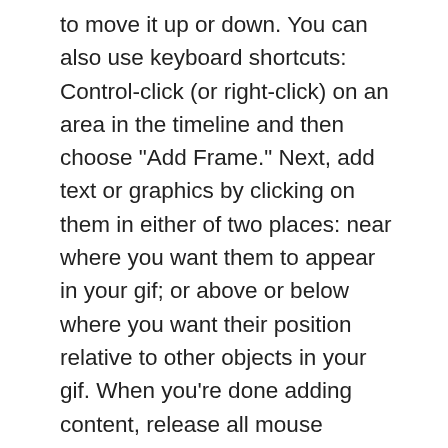to move it up or down. You can also use keyboard shortcuts: Control-click (or right-click) on an area in the timeline and then choose "Add Frame." Next, add text or graphics by clicking on them in either of two places: near where you want them to appear in your gif; or above or below where you want their position relative to other objects in your gif. When you're done adding content, release all mouse buttons except for Left Mouse Button (LMB), which will let Photoshop know that you're going to start drawing with it instead of clicking things. With LMB still held down, start dragging around inside your frame using smooth motions so that everything stays put as you go - don't jerk around! When you've finished drawing everything inside your frame - including any titles or credits - release LMB and Photoshop will save your creation